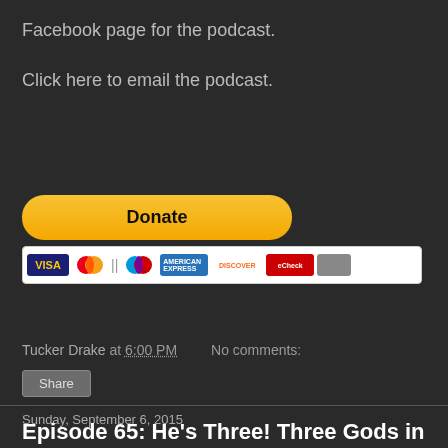Facebook page for the podcast.
Click here to email the podcast.
[Figure (other): PayPal Donate button with payment card icons (Visa, Mastercard, Maestro, American Express, Discover, and others)]
Tucker Drake at 6:00 PM   No comments:
Share
Sunday, September 6, 2015
Episode 65: He's Three! Three Gods in One!